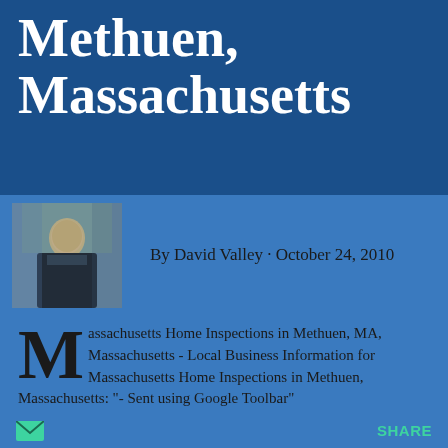Methuen, Massachusetts
By David Valley · October 24, 2010
[Figure (photo): Author photo of David Valley, a man in a suit standing outdoors]
Massachusetts Home Inspections in Methuen, MA, Massachusetts - Local Business Information for Massachusetts Home Inspections in Methuen, Massachusetts: "- Sent using Google Toolbar"
SHARE